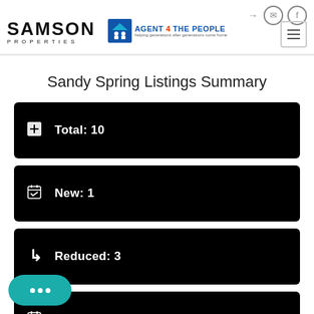[Figure (logo): Samson Properties logo with SAMSON text and PROPERTIES subtitle]
[Figure (logo): Agent 4 The People logo with house icon]
Sandy Spring Listings Summary
Total: 10
New: 1
Reduced: 3
Open House: 0